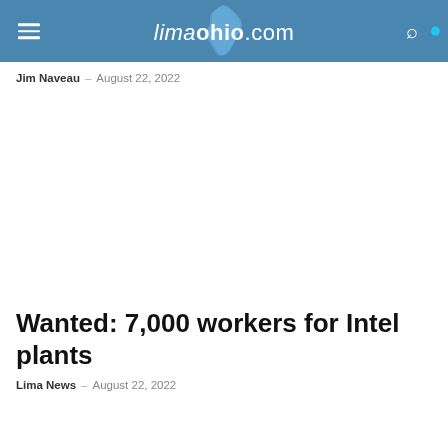limaohio.com
Jim Naveau – August 22, 2022
Wanted: 7,000 workers for Intel plants
Lima News – August 22, 2022